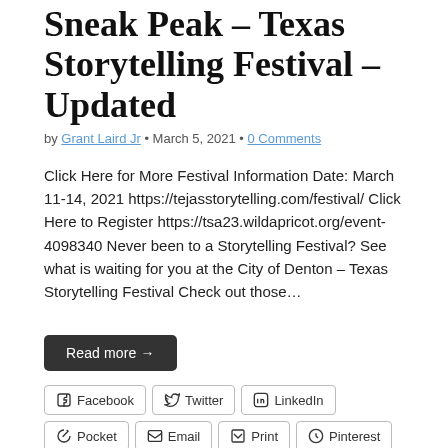Sneak Peak – Texas Storytelling Festival – Updated
by Grant Laird Jr • March 5, 2021 • 0 Comments
Click Here for More Festival Information Date: March 11-14, 2021 https://tejasstorytelling.com/festival/ Click Here to Register https://tsa23.wildapricot.org/event-4098340 Never been to a Storytelling Festival? See what is waiting for you at the City of Denton – Texas Storytelling Festival Check out those…
Read more →
Facebook  Twitter  LinkedIn  Pocket  Email  Print  Pinterest  Reddit
Like this:
Loading...